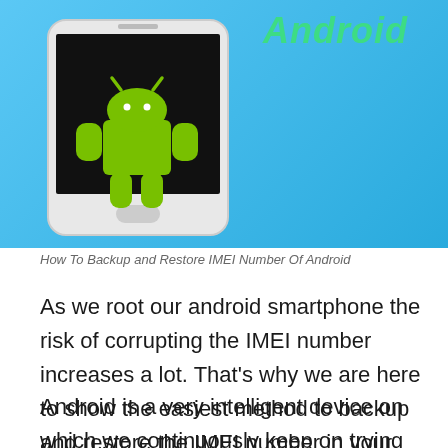[Figure (illustration): Infographic image with light blue background showing an Android robot on a smartphone screen, and the word 'Android' in green italic text on the right side]
How To Backup and Restore IMEI Number Of Android
As we root our android smartphone the risk of corrupting the IMEI number increases a lot. That’s why we are here to show the easiest method to backup and restore the IMEI number in your Android Smartphone.
Android is a very intelligent device on which we continuously keep on trying new things like